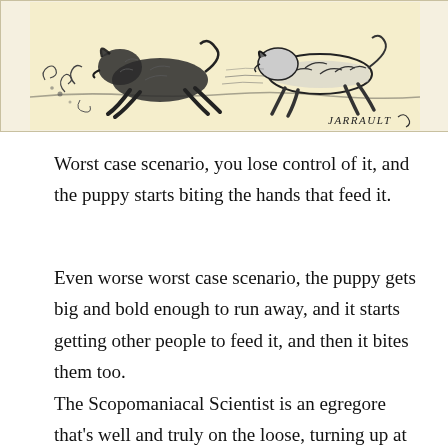[Figure (illustration): Black and white ink illustration of dogs/animals in motion, signed 'JARRAULT' in the lower right corner. Vintage engraving style on a cream/tan background.]
Worst case scenario, you lose control of it, and the puppy starts biting the hands that feed it.
Even worse worst case scenario, the puppy gets big and bold enough to run away, and it starts getting other people to feed it, and then it bites them too.
The Scopomaniacal Scientist is an egregore that's well and truly on the loose, turning up at any